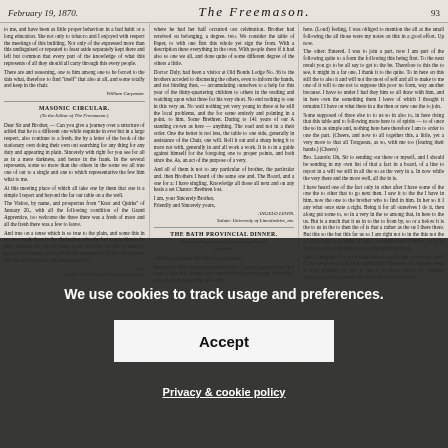February 19, 1870.   The Freemason.   93
Column 1: Newspaper text including section header MASONIC CIRCULAR (To the Editor of The Freemason.) Dear Sir and Brother, — ... William Carpenter. The Visitor, by name, and prospectus from "Knot and Quirks" of January 20... SANDY IN THE RIGHT. (END QUOTE)
Column 2: Newspaper text including ... Doctor Duly, had been a visitor at Old Bonds Lodge No. 36... THE BATH PROVINCIAL DINNER. (We omit the report of this meeting from an accident.) After the presidential chair was obtained, Brothers, I have been honoured by fate to present to propose the first toast...
Column 3: Newspaper text continuing various Masonic topics and correspondence...
We use cookies to track usage and preferences.
Accept
Privacy & cookie policy